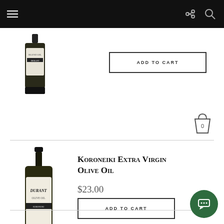[Figure (screenshot): E-commerce website navigation bar with hamburger menu, share icon, and search icon on dark background]
[Figure (photo): Partial view of a dark glass olive oil bottle with white label]
[Figure (other): Add to Cart button for first product]
[Figure (other): Shopping cart icon with 0 badge]
[Figure (photo): Durant Koroneiki Extra Virgin Olive Oil bottle, dark glass with white label]
Koroneiki Extra Virgin Olive Oil
$23.00
[Figure (other): Add to Cart button]
[Figure (other): Green chat support bubble icon at bottom right]